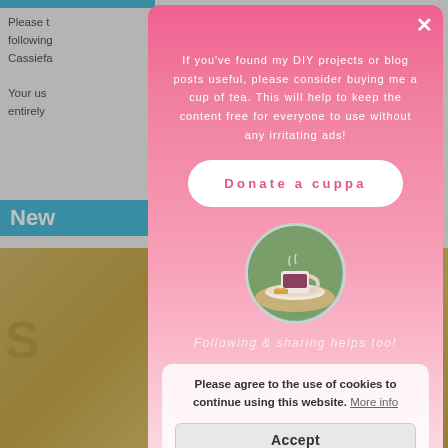[Figure (screenshot): Website page background showing partial text 'Please t...', 'following...', 'Cassiefa...', 'Your us...', 'entirely...', a 'New' button in cyan, and a wood-textured section with large bold 'S' letter, partially visible behind a modal overlay]
If you've found my DIY projects or blog posts useful, please consider buying me a cup of tea. This will help to keep the content free for everyone to use without any irritating ads!
Donate a cuppa
[Figure (photo): Circular photo of a cup of tea with biscuits on a saucer, outdoors on a table]
Following & sharing helps too!
Please agree to the use of cookies to continue using this website. More info
Accept